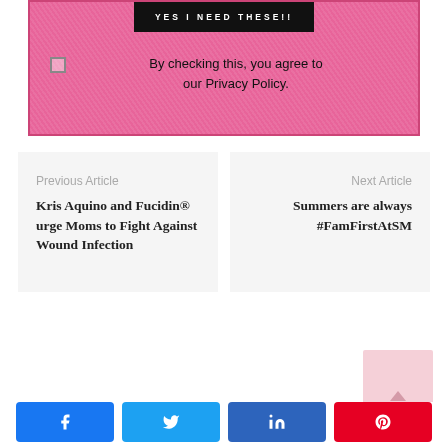[Figure (screenshot): Pink scribble-textured card with black 'YES I NEED THESE!!' button and privacy policy checkbox]
By checking this, you agree to our Privacy Policy.
Previous Article
Kris Aquino and Fucidin® urge Moms to Fight Against Wound Infection
Next Article
Summers are always #FamFirstAtSM
[Figure (photo): Small pink thumbnail image partially visible]
[Figure (infographic): Social share buttons: Facebook, Twitter, LinkedIn, Pinterest]